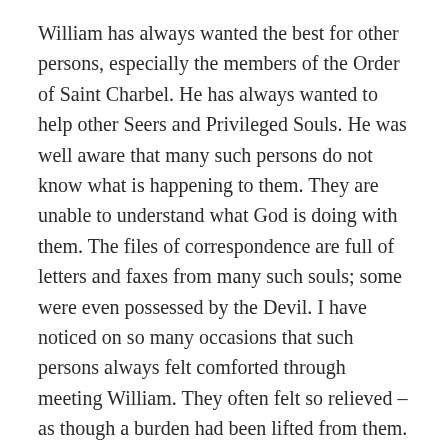William has always wanted the best for other persons, especially the members of the Order of Saint Charbel. He has always wanted to help other Seers and Privileged Souls. He was well aware that many such persons do not know what is happening to them. They are unable to understand what God is doing with them. The files of correspondence are full of letters and faxes from many such souls; some were even possessed by the Devil. I have noticed on so many occasions that such persons always felt comforted through meeting William. They often felt so relieved – as though a burden had been lifted from them. William has a great insight into human nature and a real compassion for those who suffer. On many occasions I have witnessed the inner smile of peace and joy on